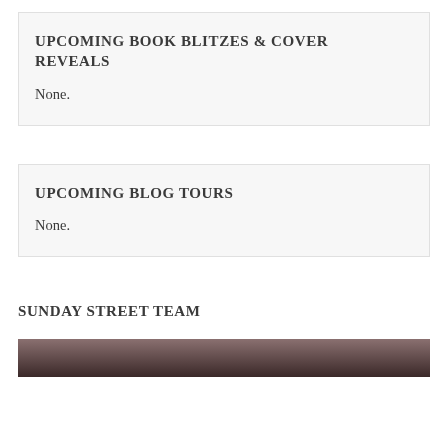UPCOMING BOOK BLITZES & COVER REVEALS
None.
UPCOMING BLOG TOURS
None.
SUNDAY STREET TEAM
[Figure (photo): Dark image strip at the bottom, appears to be a partial photo.]